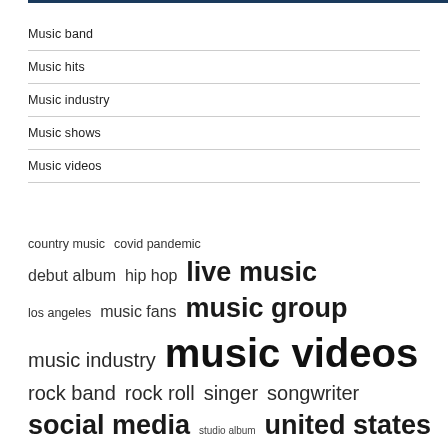Music band
Music hits
Music industry
Music shows
Music videos
country music covid pandemic debut album hip hop live music los angeles music fans music group music industry music videos rock band rock roll singer songwriter social media studio album united states